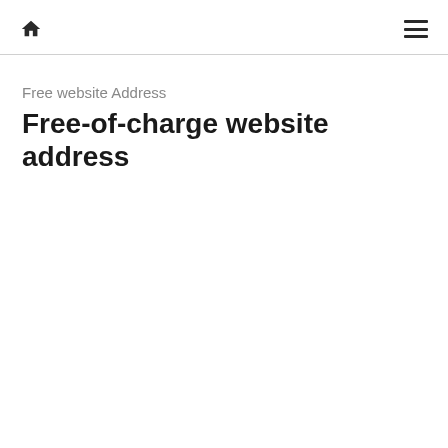home menu
Free website Address
Free-of-charge website address